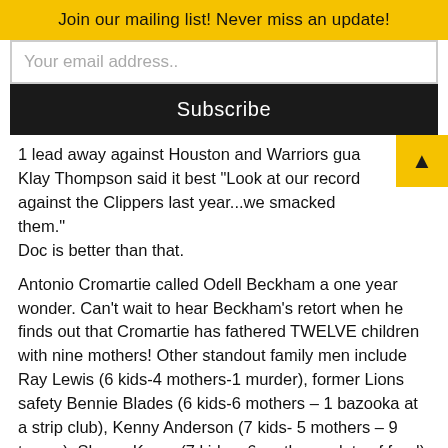Join our mailing list! Never miss an update!
Your email address..
Subscribe
1 lead away against Houston and Warriors guard Klay Thompson said it best “Look at our record against the Clippers last year...we smacked them.” Doc is better than that.
Antonio Cromartie called Odell Beckham a one year wonder. Can’t wait to hear Beckham’s retort when he finds out that Cromartie has fathered TWELVE children with nine mothers! Other standout family men include Ray Lewis (6 kids-4 mothers-1 murder), former Lions safety Bennie Blades (6 kids-6 mothers – 1 bazooka at a strip club), Kenny Anderson (7 kids- 5 mothers – 9 teams), Shawn Kemp (7 kids – 6 mothers – lots of food) and Mike Tyson (8 kids – unknown amount of mothers and a chewed off piece of ear). But the all-